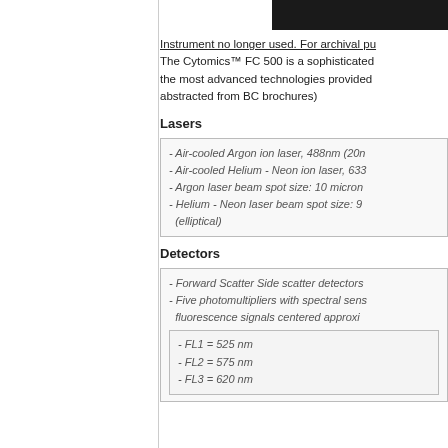[Figure (photo): Dark black image strip at top right of page]
Instrument no longer used. For archival pu... The Cytomics™ FC 500 is a sophisticated ... the most advanced technologies provided ... abstracted from BC brochures)
Lasers
- Air-cooled Argon ion laser, 488nm (20m...
- Air-cooled Helium - Neon ion laser, 633...
- Argon laser beam spot size: 10 micron...
- Helium - Neon laser beam spot size: 9... (elliptical)
Detectors
- Forward Scatter Side scatter detectors...
- Five photomultipliers with spectral sens... fluorescence signals centered approxi...
- FL1 = 525 nm
- FL2 = 575 nm
- FL3 = 620 nm